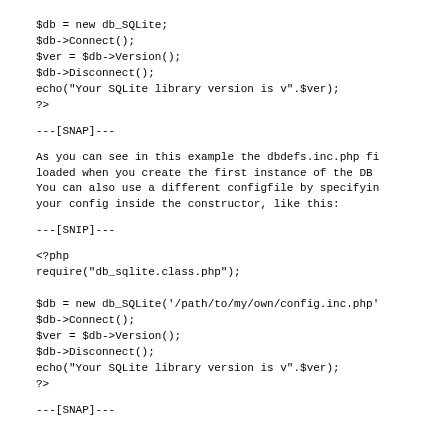$db = new db_SQLite;
$db->Connect();
$ver = $db->Version();
$db->Disconnect();
echo("Your SQLite library version is v".$ver);
?>
---[SNAP]---
As you can see in this example the dbdefs.inc.php fi loaded when you create the first instance of the DB You can also use a different configfile by specifyin your config inside the constructor, like this:
---[SNIP]---
<?php
require("db_sqlite.class.php");

$db = new db_SQLite('/path/to/my/own/config.inc.php'
$db->Connect();
$ver = $db->Version();
$db->Disconnect();
echo("Your SQLite library version is v".$ver);
?>
---[SNAP]---